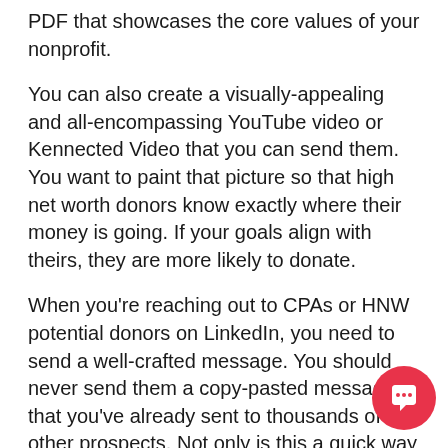PDF that showcases the core values of your nonprofit.
You can also create a visually-appealing and all-encompassing YouTube video or Kennected Video that you can send them. You want to paint that picture so that high net worth donors know exactly where their money is going. If your goals align with theirs, they are more likely to donate.
When you're reaching out to CPAs or HNW potential donors on LinkedIn, you need to send a well-crafted message. You should never send them a copy-pasted message that you've already sent to thousands of other prospects. Not only is this a quick way to get ignored, it is also an effective way to get your LinkedIn account in trouble for being a spammer.